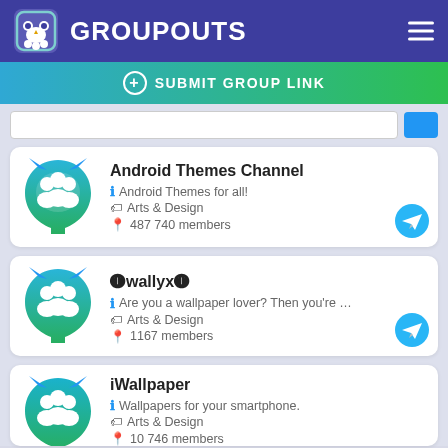GROUPOUTS
+ SUBMIT GROUP LINK
Android Themes Channel — Android Themes for all! — Arts & Design — 487 740 members
🅣wallyx🅣 — Are you a wallpaper lover? Then you're ... — Arts & Design — 1167 members
iWallpaper — Wallpapers for your smartphone. — Arts & Design — 10 746 members